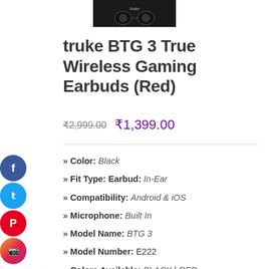[Figure (photo): Product image of truke BTG 3 earbuds on dark background]
truke BTG 3 True Wireless Gaming Earbuds (Red)
₹2,999.00  ₹1,399.00
» Color: Black
» Fit Type: Earbud: In-Ear
» Compatibility: Android & iOS
» Microphone: Built In
» Model Name: BTG 3
» Model Number: E222
» Colors Available: BLACK | RED
» Battery & Lithium Polymer battery is required.